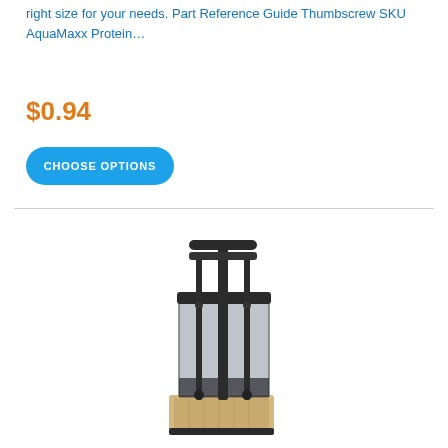right size for your needs. Part Reference Guide Thumbscrew SKU AquaMaxx Protein…
$0.94
CHOOSE OPTIONS
[Figure (photo): Product photo of an AquaMaxx protein skimmer with a clear acrylic body, black frame/stand, and a wooden base stand shown on a white background.]